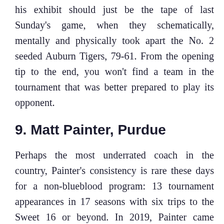his exhibit should just be the tape of last Sunday's game, when they schematically, mentally and physically took apart the No. 2 seeded Auburn Tigers, 79-61. From the opening tip to the end, you won't find a team in the tournament that was better prepared to play its opponent.
9. Matt Painter, Purdue
Perhaps the most underrated coach in the country, Painter's consistency is rare these days for a non-blueblood program: 13 tournament appearances in 17 seasons with six trips to the Sweet 16 or beyond. In 2019, Painter came within a second of breaking through to the Final Four — until Mamadi Diakite's unlikely buzzer-beater saved Virginia,